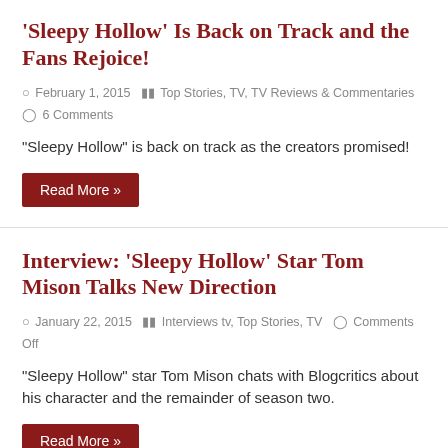'Sleepy Hollow' Is Back on Track and the Fans Rejoice!
February 1, 2015  Top Stories, TV, TV Reviews & Commentaries  6 Comments
"Sleepy Hollow" is back on track as the creators promised!
Read More »
Interview: 'Sleepy Hollow' Star Tom Mison Talks New Direction
January 22, 2015  Interviews tv, Top Stories, TV  Comments Off
"Sleepy Hollow" star Tom Mison chats with Blogcritics about his character and the remainder of season two.
Read More »
'Sleepy Hollow' Season Three on Hold; Production Moving to Atlanta